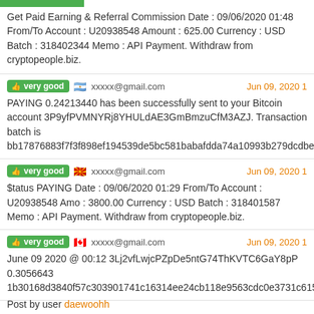Get Paid Earning & Referral Commission Date : 09/06/2020 01:48 From/To Account : U20938548 Amount : 625.00 Currency : USD Batch : 318402344 Memo : API Payment. Withdraw from cryptopeople.biz.
very good  xxxxx@gmail.com  Jun 09, 2020 1
PAYING 0.24213440 has been successfully sent to your Bitcoin account 3P9yfPVMNYRj8YHULdAE3GmBmzuCfM3AZJ. Transaction batch is bb17876883f7f3f898ef194539de5bc581babafdda74a10993b279dcdbef8f44
very good  xxxxx@gmail.com  Jun 09, 2020 1
$tatus PAYING Date : 09/06/2020 01:29 From/To Account : U20938548 Amo : 3800.00 Currency : USD Batch : 318401587 Memo : API Payment. Withdraw from cryptopeople.biz.
very good  xxxxx@gmail.com  Jun 09, 2020 1
June 09 2020 @ 00:12 3Lj2vfLwjcPZpDe5ntG74ThKVTC6GaY8pP 0.3056643 1b30168d3840f57c303901741c16314ee24cb118e9563cdc0e3731c615cca87b
Post by user daewoohh